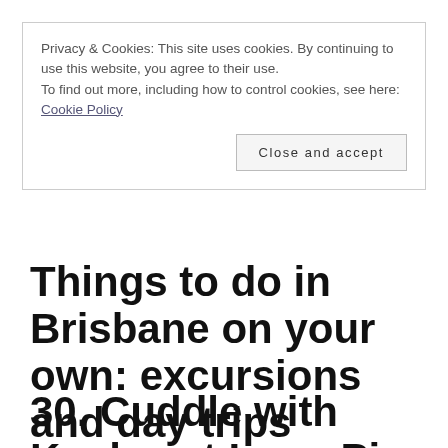Privacy & Cookies: This site uses cookies. By continuing to use this website, you agree to their use.
To find out more, including how to control cookies, see here:
Cookie Policy
Close and accept
Things to do in Brisbane on your own: excursions and day trips
30. Cuddle with Koalas at Lone Pine Koala Sanctuary